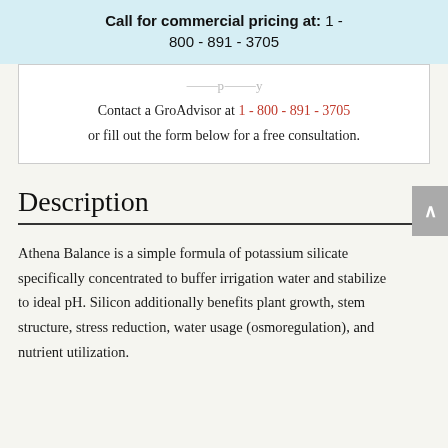Call for commercial pricing at: 1-800-891-3705
Contact a GroAdvisor at 1-800-891-3705 or fill out the form below for a free consultation.
Description
Athena Balance is a simple formula of potassium silicate specifically concentrated to buffer irrigation water and stabilize to ideal pH. Silicon additionally benefits plant growth, stem structure, stress reduction, water usage (osmoregulation), and nutrient utilization.